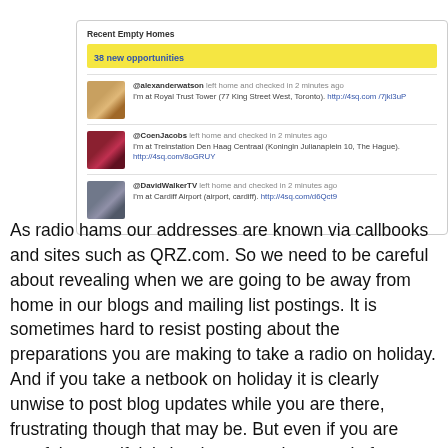[Figure (screenshot): Screenshot of a social media app showing 'Recent Empty Homes' with '38 new opportunities' highlighted in yellow, and three tweets from @alexanderwatson, @CoenJacobs, and @DavidWalkerTV each saying they left home and checked in at various locations.]
As radio hams our addresses are known via callbooks and sites such as QRZ.com. So we need to be careful about revealing when we are going to be away from home in our blogs and mailing list postings. It is sometimes hard to resist posting about the preparations you are making to take a radio on holiday. And if you take a netbook on holiday it is clearly unwise to post blog updates while you are there, frustrating though that may be. But even if you are careful yourself, it is hard to stop other people from inadvertently revealing online that you are away from home. Someone might post that they worked you while you were on holiday, for example. And if you're involved in a DXpedition or giving